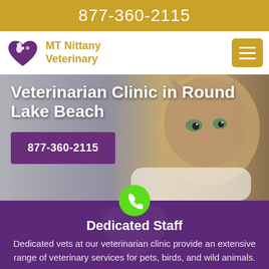877-360-2115
[Figure (logo): MT Nittany Veterinary logo with purple heart and animal silhouette icon]
Veterinarian Clinic in Round Lake Beach
877-360-2115
[Figure (photo): Kitten being held by a veterinarian in white gloves, close-up of tabby cat face]
Dedicated Staff
Dedicated vets at our veterinarian clinic provide an extensive range of veterinary services for pets, birds, and wild animals.